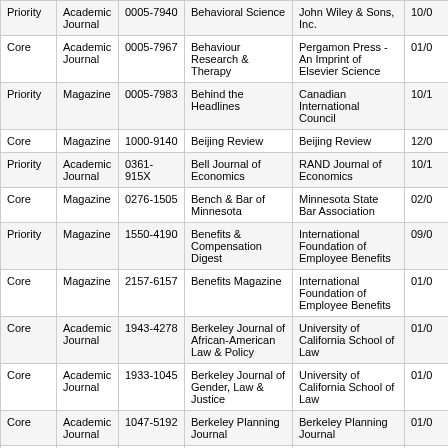| Priority | Academic Journal | 0005-7940 | Behavioral Science | John Wiley & Sons, Inc. | 10/0 |
| Core | Academic Journal | 0005-7967 | Behaviour Research & Therapy | Pergamon Press - An Imprint of Elsevier Science | 01/0 |
| Priority | Magazine | 0005-7983 | Behind the Headlines | Canadian International Council | 10/1 |
| Core | Magazine | 1000-9140 | Beijing Review | Beijing Review | 12/0 |
| Priority | Academic Journal | 0361-915X | Bell Journal of Economics | RAND Journal of Economics | 10/1 |
| Core | Magazine | 0276-1505 | Bench & Bar of Minnesota | Minnesota State Bar Association | 02/0 |
| Priority | Magazine | 1550-4190 | Benefits & Compensation Digest | International Foundation of Employee Benefits | 09/0 |
| Core | Magazine | 2157-6157 | Benefits Magazine | International Foundation of Employee Benefits | 01/0 |
| Core | Academic Journal | 1943-4278 | Berkeley Journal of African-American Law & Policy | University of California School of Law | 01/0 |
| Core | Academic Journal | 1933-1045 | Berkeley Journal of Gender, Law & Justice | University of California School of Law | 01/0 |
| Core | Academic Journal | 1047-5192 | Berkeley Planning Journal | Berkeley Planning Journal | 01/0 |
| Core | Magazine | 1919-8426 | Best Books for Kids & Teens | Canadian Children's Book Centre | 01/0 |
| Priority | Magazine | 1548-212X | Best Life | Hearst Magazines, a division of Hearst | 09/0 |